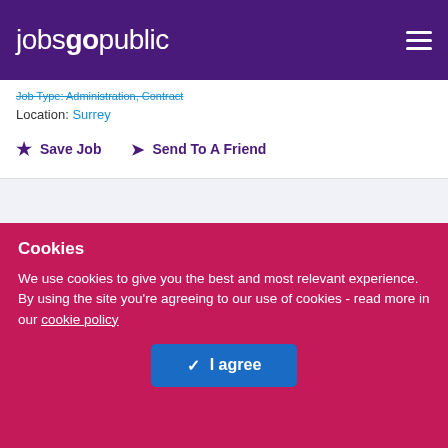jobsgopublic
Job Type: Administration, Contract
Location: Surrey
Save Job   Send To A Friend
[Figure (logo): JGP logo with colorful arc and arrow icon, text 'JGP' and tagline 'Optimising Talent Acquisition']
Cookies
We use cookies to give you the best and most relevant experience. By using the site you're agreeing to our use of cookies - read more in our cookie policy
I agree